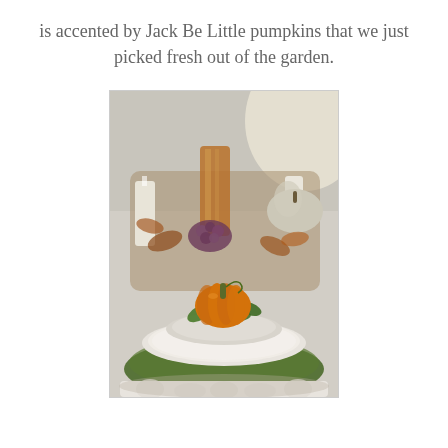is accented by Jack Be Little pumpkins that we just picked fresh out of the garden.
[Figure (photo): A fall table setting with a small orange Jack Be Little pumpkin placed on white plates atop a green charger plate. The background features a harvest centerpiece with candles, copper vases, grapes, autumn leaves, and white pumpkins on a gray linen tablecloth.]